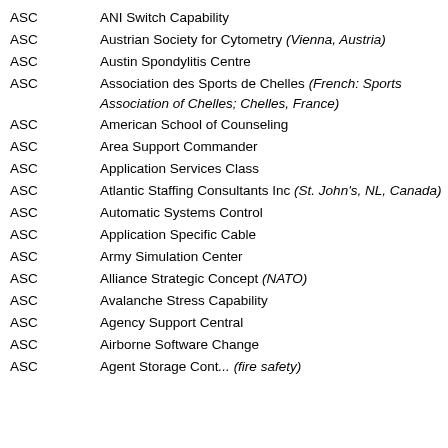ASC — ANI Switch Capability
ASC — Austrian Society for Cytometry (Vienna, Austria)
ASC — Austin Spondylitis Centre
ASC — Association des Sports de Chelles (French: Sports Association of Chelles; Chelles, France)
ASC — American School of Counseling
ASC — Area Support Commander
ASC — Application Services Class
ASC — Atlantic Staffing Consultants Inc (St. John's, NL, Canada)
ASC — Automatic Systems Control
ASC — Application Specific Cable
ASC — Army Simulation Center
ASC — Alliance Strategic Concept (NATO)
ASC — Avalanche Stress Capability
ASC — Agency Support Central
ASC — Airborne Software Change
ASC — Agent Storage Cont... (fire safety)